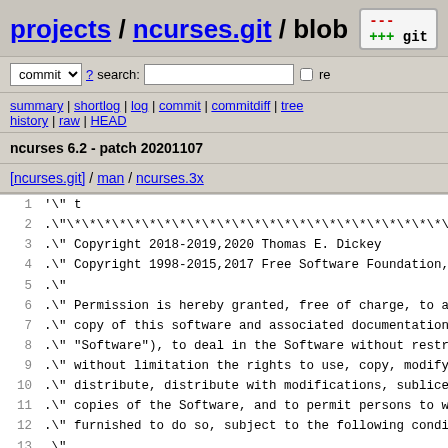projects / ncurses.git / blob
commit ? search: re
summary | shortlog | log | commit | commitdiff | tree history | raw | HEAD
ncurses 6.2 - patch 20201107
[ncurses.git] / man / ncurses.3x
1 '\" t
2 .\"***...
3 .\" Copyright 2018-2019,2020 Thomas E. Dickey
4 .\" Copyright 1998-2015,2017 Free Software Foundation,
5 .\"
6 .\" Permission is hereby granted, free of charge, to an
7 .\" copy of this software and associated documentation
8 .\" "Software"), to deal in the Software without restri
9 .\" without limitation the rights to use, copy, modify,
10 .\" distribute, distribute with modifications, sublicen
11 .\" copies of the Software, and to permit persons to wh
12 .\" furnished to do so, subject to the following condit
13 .\"
14 .\" The above copyright notice and this permission noti
15 .\" in all copies or substantial portions of the Softwa
16 .\"
17 .\" THE SOFTWARE IS PROVIDED "AS IS", WITHOUT WARRANTY
18 .\" OR IMPLIED, INCLUDING BUT NOT LIMITED TO THE WARRAN
19 .\" MERCHANTABILITY, FITNESS FOR A PARTICULAR PURPOSE